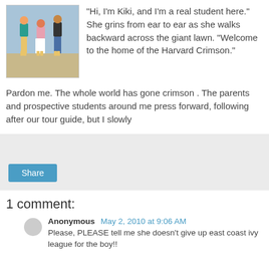[Figure (photo): Photo of three young women walking together on a beach, wearing colorful outfits and yellow boots.]
“Hi, I’m Kiki, and I’m a real student here.” She grins from ear to ear as she walks backward across the giant lawn. “Welcome to the home of the Harvard Crimson.”
Pardon me. The whole world has gone crimson . The parents and prospective students around me press forward, following after our tour guide, but I slowly
Share
1 comment:
Anonymous May 2, 2010 at 9:06 AM
Please, PLEASE tell me she doesn't give up east coast ivy league for the boy!!